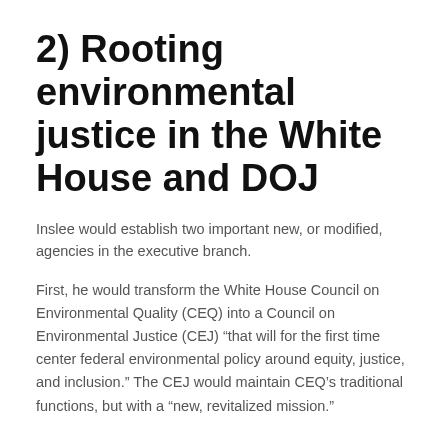2) Rooting environmental justice in the White House and DOJ
Inslee would establish two important new, or modified, agencies in the executive branch.
First, he would transform the White House Council on Environmental Quality (CEQ) into a Council on Environmental Justice (CEJ) “that will for the first time center federal environmental policy around equity, justice, and inclusion.” The CEJ would maintain CEQ’s traditional functions, but with a “new, revitalized mission.”